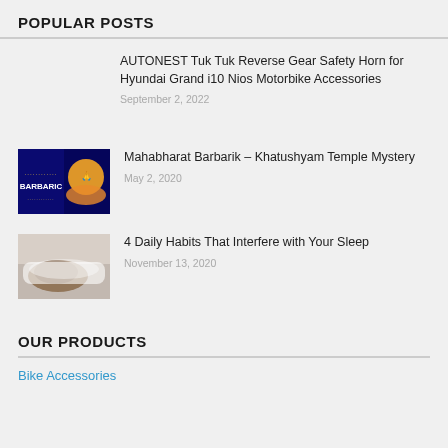POPULAR POSTS
AUTONEST Tuk Tuk Reverse Gear Safety Horn for Hyundai Grand i10 Nios Motorbike Accessories
September 2, 2022
[Figure (photo): Thumbnail image for Mahabharat Barbarik post — dark background with Barbaric text and Hindu deity illustration]
Mahabharat Barbarik – Khatushyam Temple Mystery
May 2, 2020
[Figure (photo): Thumbnail image for sleep post — person sleeping on white pillow]
4 Daily Habits That Interfere with Your Sleep
November 13, 2020
OUR PRODUCTS
Bike Accessories